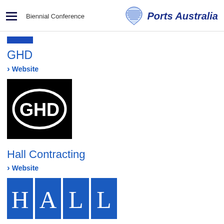Biennial Conference | Ports Australia
[Figure (logo): GHD logo: black square with white oval containing GHD text]
GHD
Website
[Figure (logo): GHD black square logo with white oval and GHD letters]
Hall Contracting
Website
[Figure (logo): Hall Contracting logo: four blue squares each containing H, A, L, L in white serif letters]